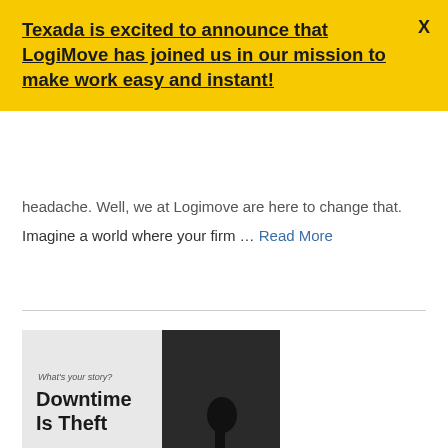Texada is excited to announce that LogiMove has joined us in our mission to make work easy and instant!
headache. Well, we at Logimove are here to change that.
Imagine a world where your firm ... Read More
[Figure (photo): A dark promotional card image with text 'What's your story?' and bold headline 'Downtime Is Theft', showing a silhouette of a person standing near equipment in a dimly lit space.]